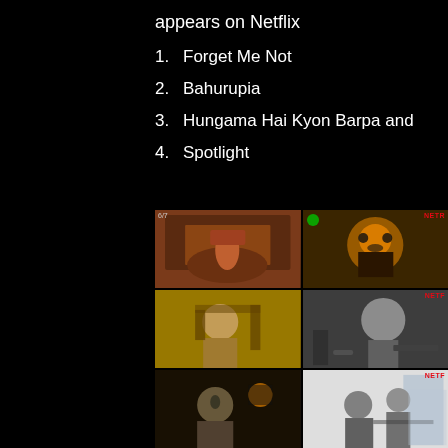appears on Netflix
1. Forget Me Not
2. Bahurupia
3. Hungama Hai Kyon Barpa and
4. Spotlight
[Figure (photo): Six film stills arranged in a 2x3 grid showing scenes from Netflix short films: a woman in red on a sofa, a man with glasses, a man with a mustache, a long-haired man in a suit, a man adjusting glasses in dim light, and two people in a bright office space.]